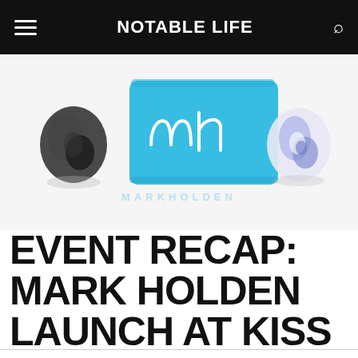NOTABLE LIFE
[Figure (logo): Mark Holden brand logo: a sky-blue painted rectangle with white handwritten 'mh' signature in the center, flanked by two circular swirl accessories — a dark grey one on the left and a blue-and-white marbled one on the right. A light blue reflection/watermark below reads 'MARKHOLDEN'.]
EVENT RECAP: MARK HOLDEN LAUNCH AT KISS AND MAKEUP